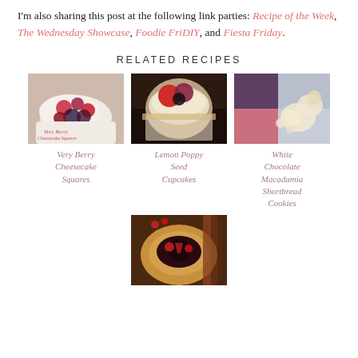I'm also sharing this post at the following link parties: Recipe of the Week, The Wednesday Showcase, Foodie FriDIY, and Fiesta Friday.
RELATED RECIPES
[Figure (photo): Very Berry Cheesecake Squares - food photo showing cheesecake squares topped with mixed berries on a white plate]
Very Berry Cheesecake Squares
[Figure (photo): Lemon Poppy Seed Cupcakes - food photo showing a cupcake topped with strawberries and blackberries in a colorful wrapper]
Lemon Poppy Seed Cupcakes
[Figure (photo): White Chocolate Macadamia Shortbread Cookies - food photo showing star-shaped shortbread cookies with red and blue cookie cutters]
White Chocolate Macadamia Shortbread Cookies
[Figure (photo): A galette or rustic tart with dark berry filling, partially visible at bottom of page]